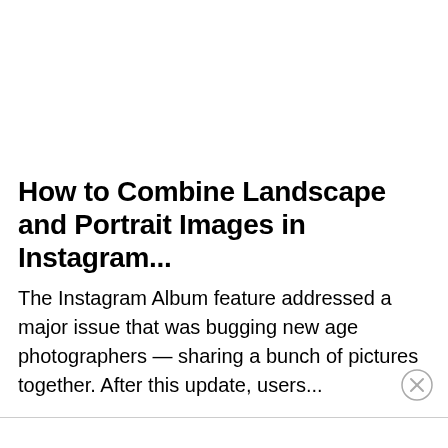How to Combine Landscape and Portrait Images in Instagram...
The Instagram Album feature addressed a major issue that was bugging new age photographers — sharing a bunch of pictures together. After this update, users...